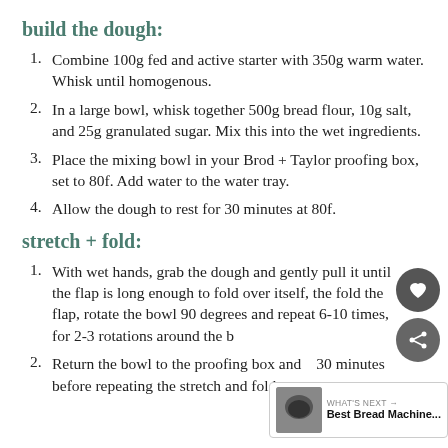build the dough:
Combine 100g fed and active starter with 350g warm water. Whisk until homogenous.
In a large bowl, whisk together 500g bread flour, 10g salt, and 25g granulated sugar. Mix this into the wet ingredients.
Place the mixing bowl in your Brod + Taylor proofing box, set to 80f. Add water to the water tray.
Allow the dough to rest for 30 minutes at 80f.
stretch + fold:
With wet hands, grab the dough and gently pull it until the flap is long enough to fold over itself, the fold the flap, rotate the bowl 90 degrees and repeat 6-10 times, for 2-3 rotations around the bowl.
Return the bowl to the proofing box and wait 30 minutes before repeating the stretch and fold